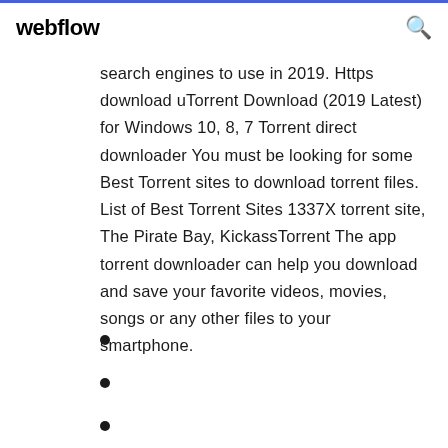webflow
search engines to use in 2019. Https download uTorrent Download (2019 Latest) for Windows 10, 8, 7 Torrent direct downloader You must be looking for some Best Torrent sites to download torrent files. List of Best Torrent Sites 1337X torrent site, The Pirate Bay, KickassTorrent The app torrent downloader can help you download and save your favorite videos, movies, songs or any other files to your smartphone.